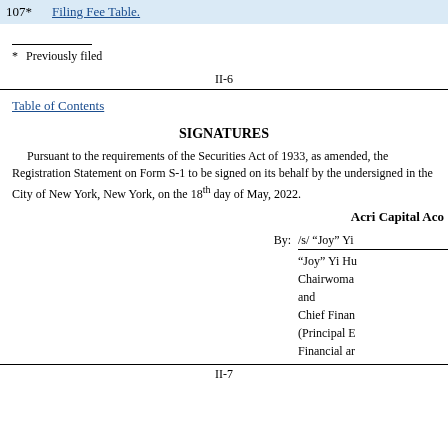107*   Filing Fee Table.
* Previously filed
II-6
Table of Contents
SIGNATURES
Pursuant to the requirements of the Securities Act of 1933, as amended, the Registration Statement on Form S-1 to be signed on its behalf by the undersigned in the City of New York, New York, on the 18th day of May, 2022.
Acri Capital Aco
By: /s/ "Joy" Yi
"Joy" Yi Hu
Chairwoma
and
Chief Finan
(Principal E
Financial ar
II-7